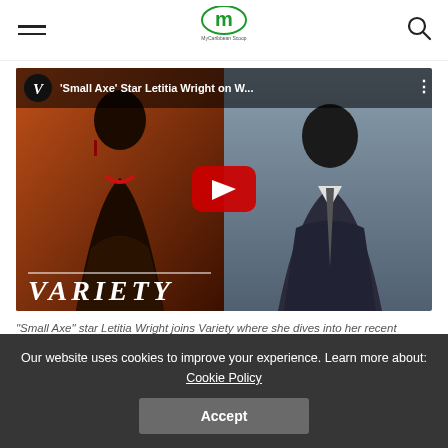MyCaribbean Scoop
[Figure (screenshot): YouTube video thumbnail showing 'Small Axe' Star Letitia Wright on W... with Variety logo. Two actors shown side by side: a woman on warm orange background on the left, a man in suit on cool blue-grey background on the right. YouTube play button in center.]
"Small Axe" star Letitia Wright joins Variety where she dives into her recent
Our website uses cookies to improve your experience. Learn more about: Cookie Policy
Accept